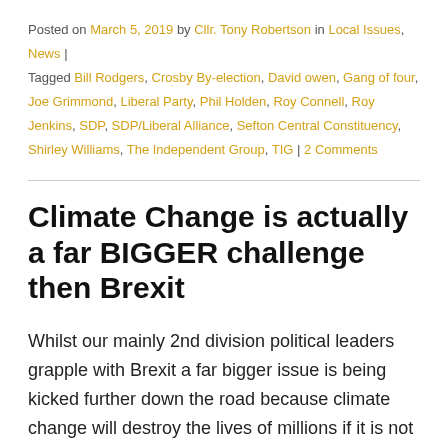Posted on March 5, 2019 by Cllr. Tony Robertson in Local Issues, News | Tagged Bill Rodgers, Crosby By-election, David owen, Gang of four, Joe Grimmond, Liberal Party, Phil Holden, Roy Connell, Roy Jenkins, SDP, SDP/Liberal Alliance, Sefton Central Constituency, Shirley Williams, The Independent Group, TIG | 2 Comments
Climate Change is actually a far BIGGER challenge then Brexit
Whilst our mainly 2nd division political leaders grapple with Brexit a far bigger issue is being kicked further down the road because climate change will destroy the lives of millions if it is not addressed very firmly and very soon.